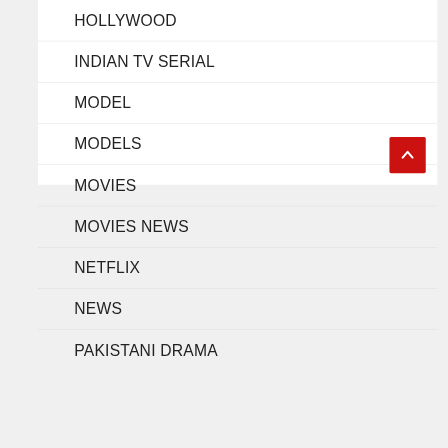HOLLYWOOD
INDIAN TV SERIAL
MODEL
MODELS
MOVIES
MOVIES NEWS
NETFLIX
NEWS
PAKISTANI DRAMA